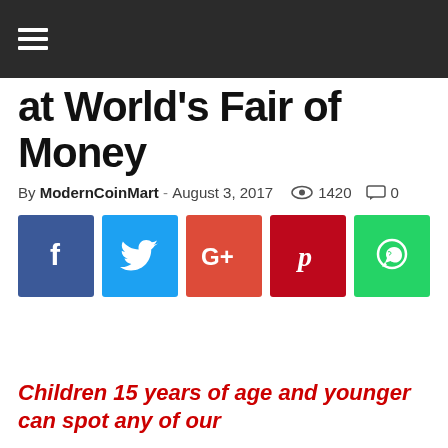≡
at World's Fair of Money
By ModernCoinMart – August 3, 2017  1420  0
[Figure (infographic): Five social media share buttons: Facebook (blue), Twitter (light blue), Google+ (red-orange), Pinterest (dark red), WhatsApp (green)]
Children 15 years of age and younger can spot any of our